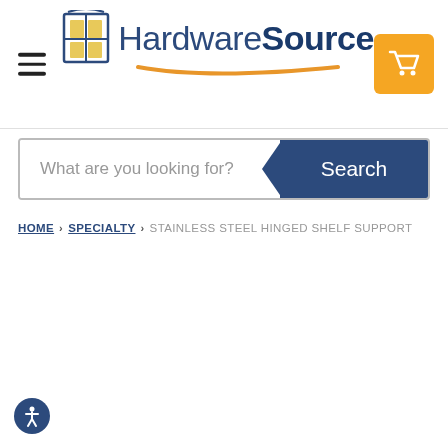[Figure (logo): HardwareSource logo with window icon and orange swoosh, plus hamburger menu icon and orange cart button]
What are you looking for?
Search
HOME › SPECIALTY › STAINLESS STEEL HINGED SHELF SUPPORT